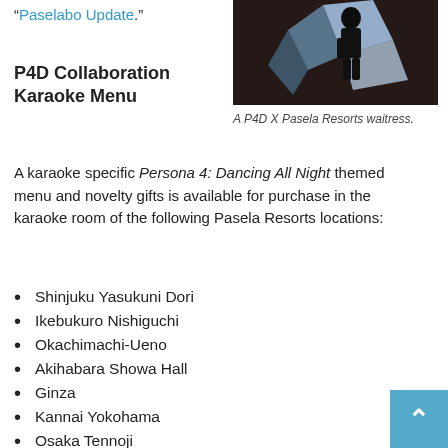“Paselabo Update.”
[Figure (photo): Photo of a P4D X Pasela Resorts waitress in costume against a dark background with blue geometric lighting.]
A P4D X Pasela Resorts waitress.
P4D Collaboration Karaoke Menu
A karaoke specific Persona 4: Dancing All Night themed menu and novelty gifts is available for purchase in the karaoke room of the following Pasela Resorts locations:
Shinjuku Yasukuni Dori
Ikebukuro Nishiguchi
Okachimachi-Ueno
Akihabara Showa Hall
Ginza
Kannai Yokohama
Osaka Tennoji